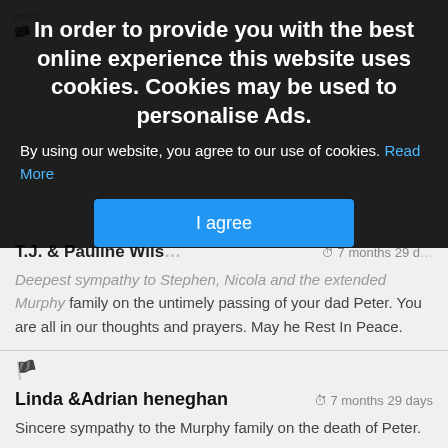[Figure (screenshot): Cookie consent modal overlay on a dark semi-transparent background with bold white title text, body text, a blue 'I agree' button, and partially visible obituary/condolence page content behind it.]
In order to provide you with the best online experience this website uses cookies. Cookies may be used to personalise Ads.
By using our website, you agree to our use of cookies. Read More
I agree
T.J. & Pauline Wils…
Deepest sympathy to Stephen, Nicola and the extended Murphy family on the untimely passing of your dad Peter. You are all in our thoughts and prayers. May he Rest In Peace.
Linda &Adrian heneghan
7 months 29 days
Sincere sympathy to the Murphy family on the death of Peter.

May he Rest in Peace.